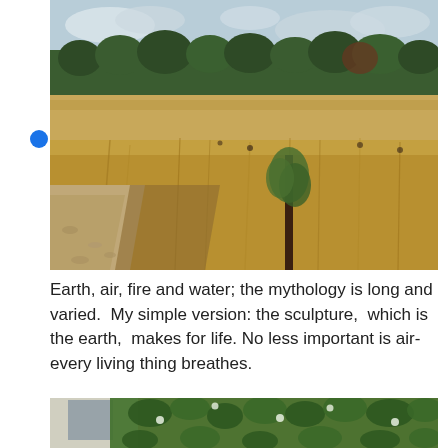[Figure (photo): Outdoor landscape photo showing a dry field with golden-brown grass and dried weeds in the foreground, a gravelly path on the left, a small leafy shrub or young tree in the center-right, and a dense treeline of green trees in the background under a partly cloudy sky.]
Earth, air, fire and water; the mythology is long and varied. My simple version: the sculpture, which is the earth, makes for life. No less important is air-every living thing breathes.
[Figure (photo): Partial view of a brick building facade covered with dense green climbing vines and flowering plants. A window is partially visible on the left side.]